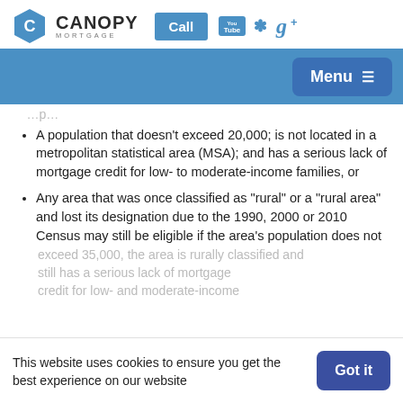Canopy Mortgage — website header with logo, Call button, YouTube, Yelp, Google+ icons
Menu navigation bar
A population that doesn't exceed 20,000; is not located in a metropolitan statistical area (MSA); and has a serious lack of mortgage credit for low- to moderate-income families, or
Any area that was once classified as "rural" or a "rural area" and lost its designation due to the 1990, 2000 or 2010 Census may still be eligible if the area's population does not exceed 35,000, the area is rurally classified, and still has a serious lack of mortgage credit for low- and moderate-income...
This website uses cookies to ensure you get the best experience on our website